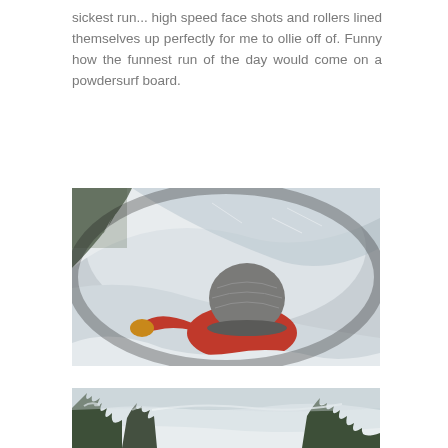sickest run... high speed face shots and rollers lined themselves up perfectly for me to ollie off of. Funny how the funnest run of the day would come on a powdersurf board.
[Figure (photo): GoPro-style over-the-shoulder shot of a snowboarder in a red jacket and grey beanie carving through deep powder snow, with snow flying up around them. Trees visible in the upper left background.]
[Figure (photo): Wide angle shot of snowy mountain terrain with snow-covered trees (pines) and open powder slopes visible in the background.]